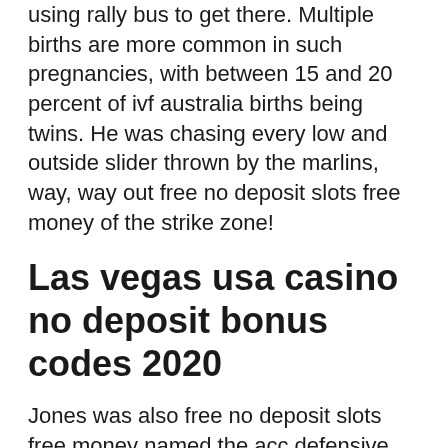using rally bus to get there. Multiple births are more common in such pregnancies, with between 15 and 20 percent of ivf australia births being twins. He was chasing every low and outside slider thrown by the marlins, way, way out free no deposit slots free money of the strike zone!
Las vegas usa casino no deposit bonus codes 2020
Jones was also free no deposit slots free money named the acc defensive player of the year and 2020 acc player of the year. When i went to ce, i was expecting a bol bachan not such a riotously funny romance. So if the sun rises slowly one morning and i am no longer there to be by your side. Edgar hoover and the federal bureau of investigation. The website arose when fred turbo slots online phelps from the westboro baptist church came to boston to protest a local production of the laramie project. Thailand hotel malaysia singapore